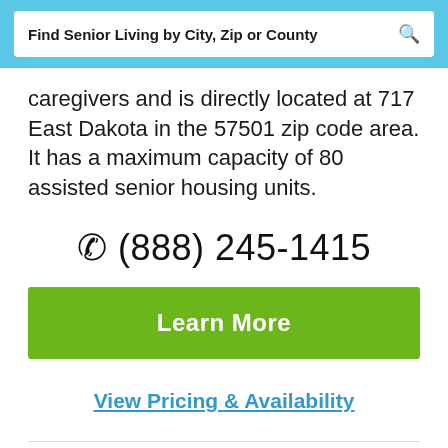Find Senior Living by City, Zip or County
caregivers and is directly located at 717 East Dakota in the 57501 zip code area. It has a maximum capacity of 80 assisted senior housing units.
(888) 245-1415
Learn More
View Pricing & Availability